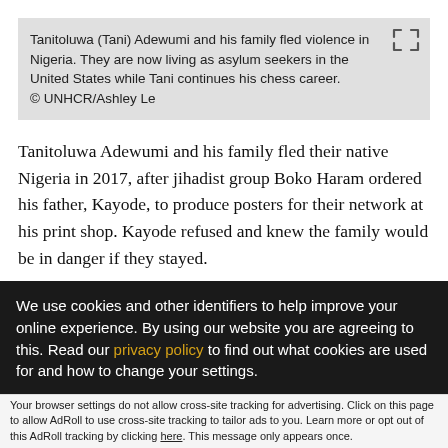Tanitoluwa (Tani) Adewumi and his family fled violence in Nigeria. They are now living as asylum seekers in the United States while Tani continues his chess career. © UNHCR/Ashley Le
Tanitoluwa Adewumi and his family fled their native Nigeria in 2017, after jihadist group Boko Haram ordered his father, Kayode, to produce posters for their network at his print shop. Kayode refused and knew the family would be in danger if they stayed.
The family flew to Dallas, Texas on a tourist visa they had
We use cookies and other identifiers to help improve your online experience. By using our website you are agreeing to this. Read our privacy policy to find out what cookies are used for and how to change your settings.
Accept and Close ×
Your browser settings do not allow cross-site tracking for advertising. Click on this page to allow AdRoll to use cross-site tracking to tailor ads to you. Learn more or opt out of this AdRoll tracking by clicking here. This message only appears once.